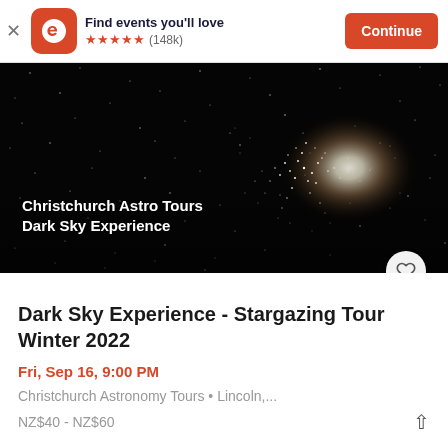Find events you'll love ★★★★★ (148k) Continue
[Figure (photo): Dark starfield/night sky photo with dense star cluster (globular cluster) on right side, white overlay text: 'Christchurch Astro Tours Dark Sky Experience']
Dark Sky Experience - Stargazing Tour Winter 2022
Fri, Sep 16, 9:00 PM
Christchurch Astronomy Tours • Lincoln,...
NZ$40 - NZ$60